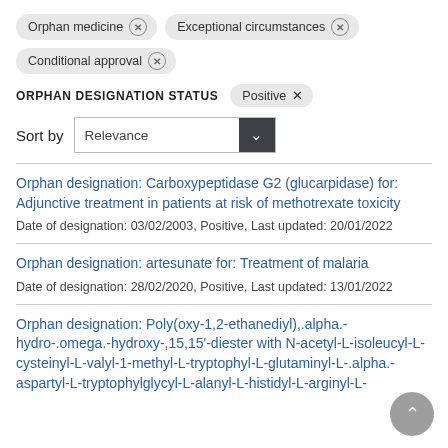Orphan medicine ×
Exceptional circumstances ×
Conditional approval ×
ORPHAN DESIGNATION STATUS  Positive ×
Sort by  Relevance
Orphan designation: Carboxypeptidase G2 (glucarpidase) for: Adjunctive treatment in patients at risk of methotrexate toxicity
Date of designation: 03/02/2003, Positive, Last updated: 20/01/2022
Orphan designation: artesunate for: Treatment of malaria
Date of designation: 28/02/2020, Positive, Last updated: 13/01/2022
Orphan designation: Poly(oxy-1,2-ethanediyl),.alpha.-hydro-.omega.-hydroxy-,15,15'-diester with N-acetyl-L-isoleucyl-L-cysteinyl-L-valyl-1-methyl-L-tryptophyl-L-glutaminyl-L-.alpha.-aspartyl-L-tryptophylglycyl-L-alanyl-L-histidyl-L-arginyl-L-